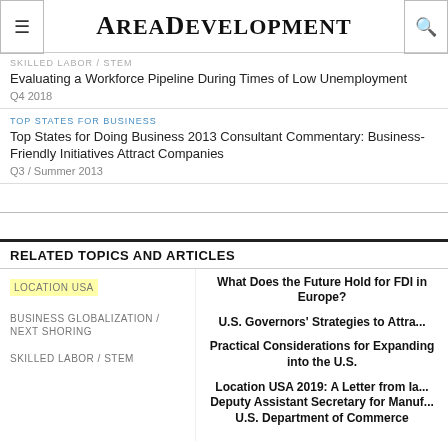AreaDevelopment
SKILLED LABOR / STEM
Evaluating a Workforce Pipeline During Times of Low Unemployment
Q4 2018
TOP STATES FOR BUSINESS
Top States for Doing Business 2013 Consultant Commentary: Business-Friendly Initiatives Attract Companies
Q3 / Summer 2013
RELATED TOPICS AND ARTICLES
LOCATION USA
BUSINESS GLOBALIZATION / NEXT SHORING
SKILLED LABOR / STEM
What Does the Future Hold for FDI in Europe?
U.S. Governors' Strategies to Attract...
Practical Considerations for Expanding into the U.S.
Location USA 2019: A Letter from Ia... Deputy Assistant Secretary for Manuf... U.S. Department of Commerce